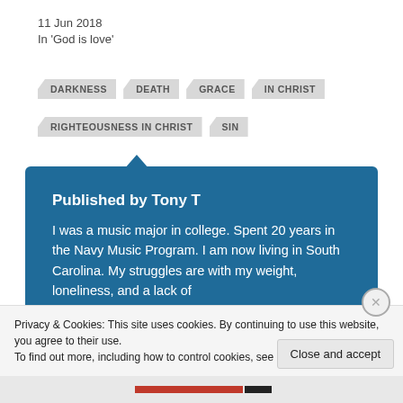11 Jun 2018
In 'God is love'
DARKNESS
DEATH
GRACE
IN CHRIST
RIGHTEOUSNESS IN CHRIST
SIN
Published by Tony T
I was a music major in college. Spent 20 years in the Navy Music Program. I am now living in South Carolina. My struggles are with my weight, loneliness, and a lack of
Privacy & Cookies: This site uses cookies. By continuing to use this website, you agree to their use.
To find out more, including how to control cookies, see here: Cookie Policy
Close and accept